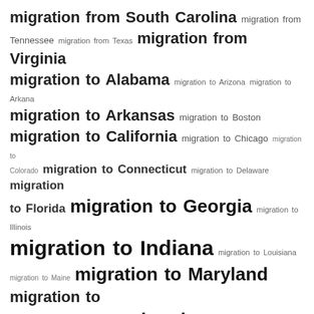[Figure (other): Tag cloud of migration-related search terms. Larger text indicates higher frequency/importance. Terms include migration from/to various US states and cities such as South Carolina, Tennessee, Texas, Virginia, Alabama, Arizona, Arkansas, Boston, California, Chicago, Colorado, Connecticut, Delaware, Florida, Georgia, Illinois, Indiana, Louisiana, Maine, Maryland, Massachusetts, Michigan, Mississippi, Missouri, Nebraska, New Jersey, New York, New York City, Ohio, Oklahoma, Pennsylvania, Philadelphia, Rhode Island, Seattle, Tennessee, Virginia, Washington DC, and Military/military duty terms.]